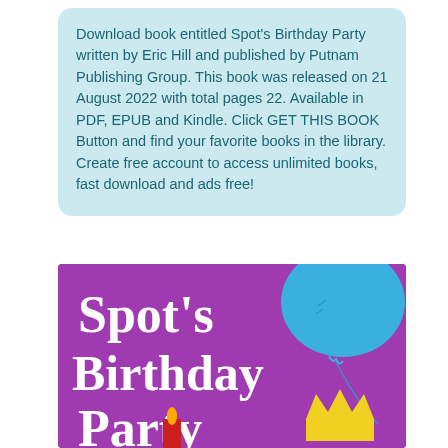Download book entitled Spot's Birthday Party written by Eric Hill and published by Putnam Publishing Group. This book was released on 21 August 2022 with total pages 22. Available in PDF, EPUB and Kindle. Click GET THIS BOOK Button and find your favorite books in the library. Create free account to access unlimited books, fast download and ads free!
[Figure (illustration): Book cover of Spot's Birthday Party showing purple background with white bold serif text reading "Spot's Birthday Party", a blue balloon in the upper right, a yellow crown shape at the bottom right, and a red candle at the bottom left.]